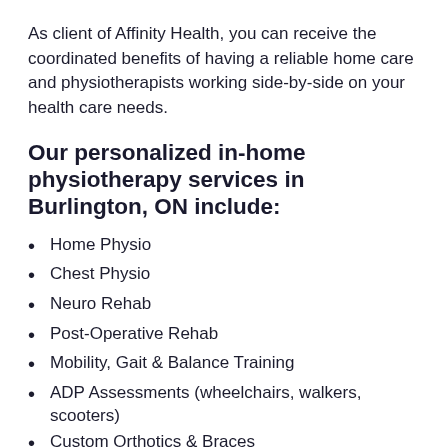As client of Affinity Health, you can receive the coordinated benefits of having a reliable home care and physiotherapists working side-by-side on your health care needs.
Our personalized in-home physiotherapy services in Burlington, ON include:
Home Physio
Chest Physio
Neuro Rehab
Post-Operative Rehab
Mobility, Gait & Balance Training
ADP Assessments (wheelchairs, walkers, scooters)
Custom Orthotics & Braces